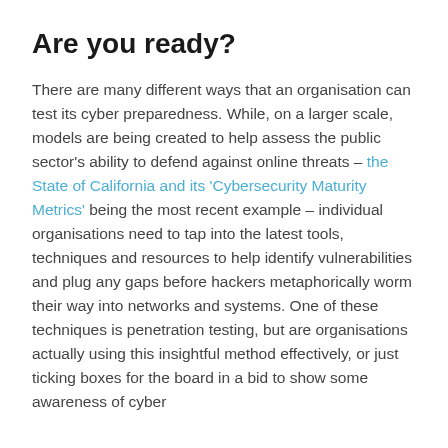Are you ready?
There are many different ways that an organisation can test its cyber preparedness. While, on a larger scale, models are being created to help assess the public sector's ability to defend against online threats – the State of California and its 'Cybersecurity Maturity Metrics' being the most recent example – individual organisations need to tap into the latest tools, techniques and resources to help identify vulnerabilities and plug any gaps before hackers metaphorically worm their way into networks and systems. One of these techniques is penetration testing, but are organisations actually using this insightful method effectively, or just ticking boxes for the board in a bid to show some awareness of cyber